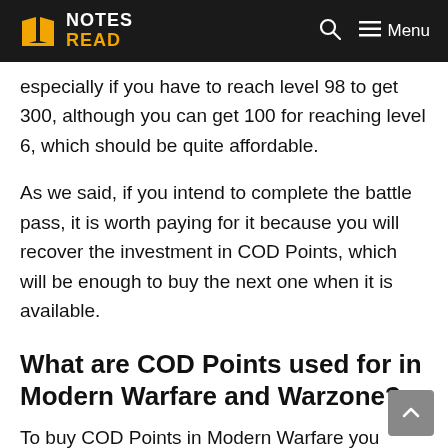NOTES READ
especially if you have to reach level 98 to get 300, although you can get 100 for reaching level 6, which should be quite affordable.
As we said, if you intend to complete the battle pass, it is worth paying for it because you will recover the investment in COD Points, which will be enough to buy the next one when it is available.
What are COD Points used for in Modern Warfare and Warzone?
To buy COD Points in Modern Warfare you